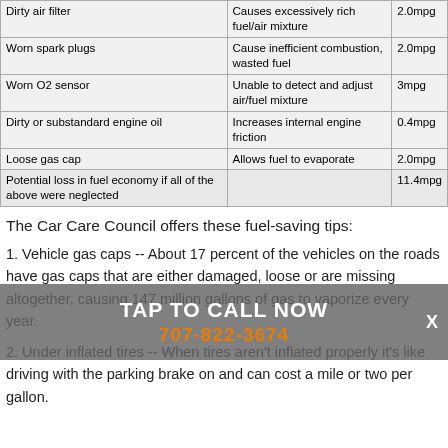| Issue | Effect | MPG Loss |
| --- | --- | --- |
| Dirty air filter | Causes excessively rich fuel/air mixture | 2.0mpg |
| Worn spark plugs | Cause inefficient combustion, wasted fuel | 2.0mpg |
| Worn O2 sensor | Unable to detect and adjust air/fuel mixture | 3mpg |
| Dirty or substandard engine oil | Increases internal engine friction | 0.4mpg |
| Loose gas cap | Allows fuel to evaporate | 2.0mpg |
| Potential loss in fuel economy if all of the above were neglected |  | 11.4mpg |
The Car Care Council offers these fuel-saving tips:
1. Vehicle gas caps -- About 17 percent of the vehicles on the roads have gas caps that are either damaged, loose or are missing altogether, causing 147 million gallons of gas to vaporize every year.
2. Under inflated tires -- When tires aren't inflated properly it's like driving with the parking brake on and can cost a mile or two per gallon.